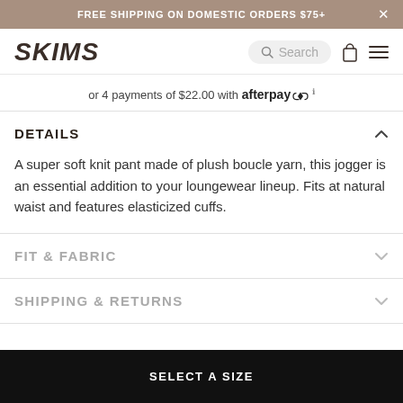FREE SHIPPING ON DOMESTIC ORDERS $75+
[Figure (logo): SKIMS logo in bold italic dark brown font]
or 4 payments of $22.00 with afterpay
DETAILS
A super soft knit pant made of plush boucle yarn, this jogger is an essential addition to your loungewear lineup. Fits at natural waist and features elasticized cuffs.
FIT & FABRIC
SHIPPING & RETURNS
SELECT A SIZE